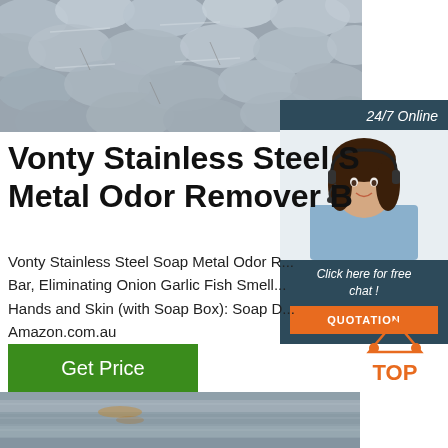[Figure (photo): Close-up photo of bundled stainless steel round bars/rods with tags attached]
24/7 Online
[Figure (photo): Customer service agent woman wearing headset, smiling]
Click here for free chat !
QUOTATION
Vonty Stainless Steel S... Metal Odor Remover B...
Vonty Stainless Steel Soap Metal Odor R... Bar, Eliminating Onion Garlic Fish Smell... Hands and Skin (with Soap Box): Soap D... Amazon.com.au
Get Price
[Figure (logo): TOP logo with orange dot triangle icon above the text TOP in orange]
[Figure (photo): Close-up photo of stainless steel flat sheets/plates stacked]